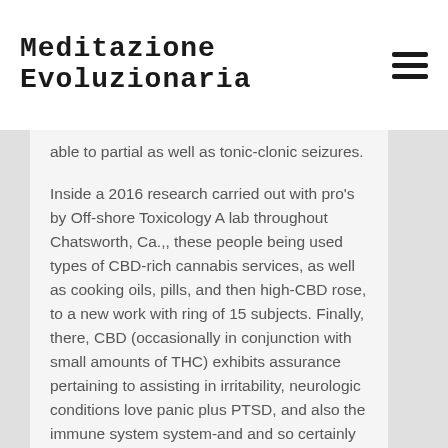Meditazione Evoluzionaria
able to partial as well as tonic-clonic seizures.
Inside a 2016 research carried out with pro’s by Off-shore Toxicology A lab throughout Chatsworth, Ca.,, these people being used types of CBD-rich cannabis services, as well as cooking oils, pills, and then high-CBD rose, to a new work with ring of 15 subjects. Finally, there, CBD (occasionally in conjunction with small amounts of THC) exhibits assurance pertaining to assisting in irritability, neurologic conditions love panic plus PTSD, and also the immune system system-and and so certainly inflammation of joints being distinctive and…